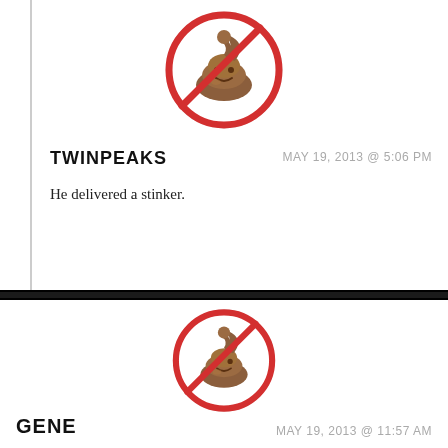[Figure (illustration): No-poop emoji icon: a red circle with a diagonal red line through it and a cartoon poop emoji inside, on white background]
TWINPEAKS
MAY 19, 2013 @ 5:06 PM
He delivered a stinker.
[Figure (illustration): No-poop emoji icon: a red circle with a diagonal red line through it and a cartoon poop emoji inside, on white background]
GENE
MAY 19, 2013 @ 11:57 AM